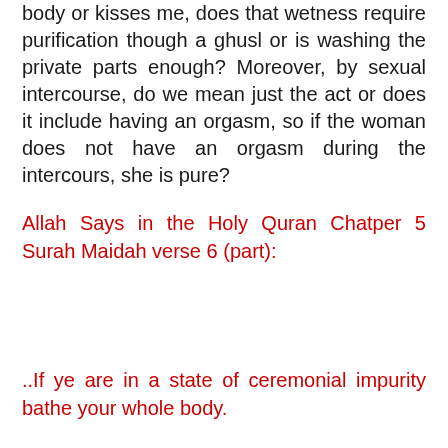body or kisses me, does that wetness require purification though a ghusl or is washing the private parts enough? Moreover, by sexual intercourse, do we mean just the act or does it include having an orgasm, so if the woman does not have an orgasm during the intercours, she is pure?
Allah Says in the Holy Quran Chatper 5 Surah Maidah verse 6 (part):
..If ye are in a state of ceremonial impurity bathe your whole body.